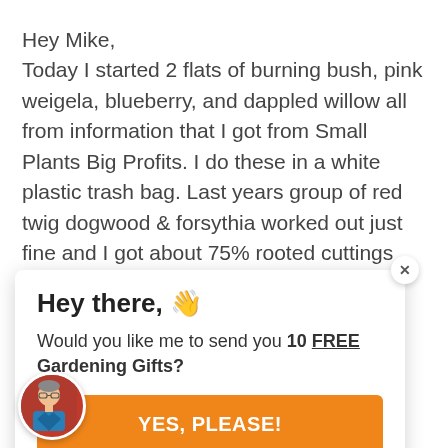Hey Mike,
Today I started 2 flats of burning bush, pink weigela, blueberry, and dappled willow all from information that I got from Small Plants Big Profits. I do these in a white plastic trash bag. Last years group of red twig dogwood & forsythia worked out just fine and I got about 75% rooted cuttings out of them.
You do those of us a great service with...
[Figure (screenshot): A popup/modal dialog box with a close X button, heading 'Hey there, 👋', body text 'Would you like me to send you 10 FREE Gardening Gifts?', and an orange button labeled 'YES, PLEASE!']
[Figure (photo): A circular avatar photo of an older man wearing a red shirt, positioned at the bottom left of the page.]